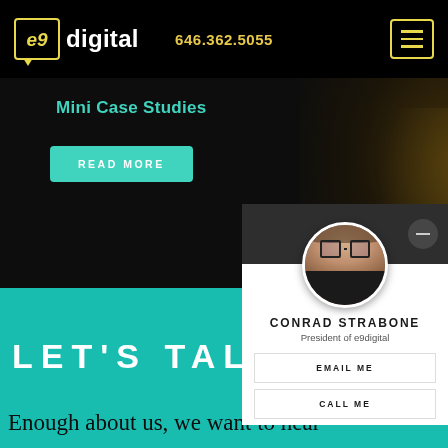e9digital | 646.362.5055
Mini Case Studies
READ MORE
LET'S TAL
Enough about us, we want to hear
[Figure (photo): Profile card for Conrad Strabone, President of e9digital, with circular portrait photo, EMAIL ME and CALL ME buttons]
CONRAD STRABONE
President of e9digital
EMAIL ME
CALL ME